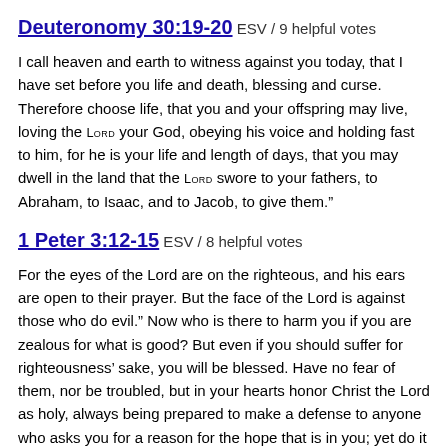Deuteronomy 30:19-20 ESV / 9 helpful votes
I call heaven and earth to witness against you today, that I have set before you life and death, blessing and curse. Therefore choose life, that you and your offspring may live, loving the LORD your God, obeying his voice and holding fast to him, for he is your life and length of days, that you may dwell in the land that the LORD swore to your fathers, to Abraham, to Isaac, and to Jacob, to give them.”
1 Peter 3:12-15 ESV / 8 helpful votes
For the eyes of the Lord are on the righteous, and his ears are open to their prayer. But the face of the Lord is against those who do evil.” Now who is there to harm you if you are zealous for what is good? But even if you should suffer for righteousness’ sake, you will be blessed. Have no fear of them, nor be troubled, but in your hearts honor Christ the Lord as holy, always being prepared to make a defense to anyone who asks you for a reason for the hope that is in you; yet do it with gentleness and respect,